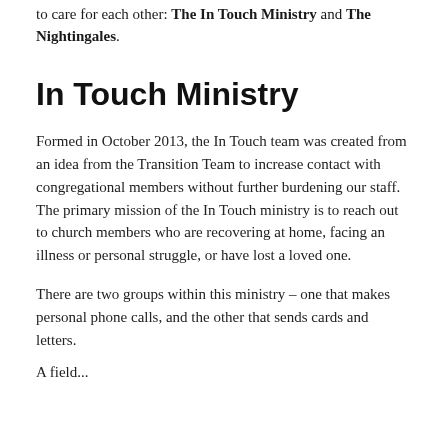to care for each other: The In Touch Ministry and The Nightingales.
In Touch Ministry
Formed in October 2013, the In Touch team was created from an idea from the Transition Team to increase contact with congregational members without further burdening our staff. The primary mission of the In Touch ministry is to reach out to church members who are recovering at home, facing an illness or personal struggle, or have lost a loved one.
There are two groups within this ministry – one that makes personal phone calls, and the other that sends cards and letters.
Aefield...